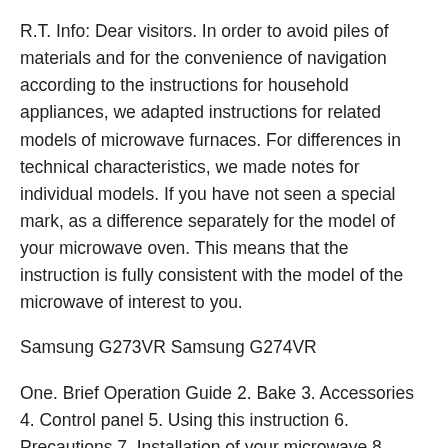R.T. Info: Dear visitors. In order to avoid piles of materials and for the convenience of navigation according to the instructions for household appliances, we adapted instructions for related models of microwave furnaces. For differences in technical characteristics, we made notes for individual models. If you have not seen a special mark, as a difference separately for the model of your microwave oven. This means that the instruction is fully consistent with the model of the microwave of interest to you.
Samsung G273VR Samsung G274VR
One. Brief Operation Guide 2. Bake 3. Accessories 4. Control panel 5. Using this instruction 6. Precautions 7. Installation of your microwave 8. Installation of time 9. How the microwave oven works 10. Checking the correctness of your furnace 11. What to do if you doubt anything or a problem arose 12.